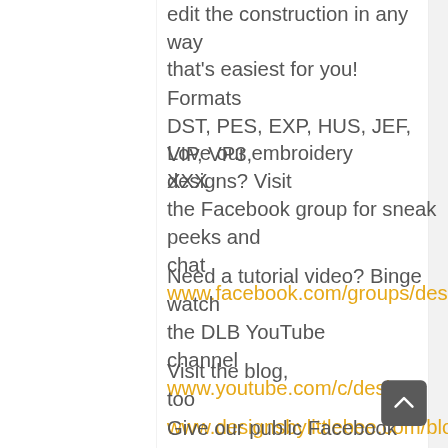edit the construction in any way that's easiest for you! Formats DST, PES, EXP, HUS, JEF, VIP, VP3, XXX
Love our embroidery designs? Visit the Facebook group for sneak peeks and chat www.facebook.com/groups/desi...
Need a tutorial video? Binge watch the DLB YouTube channel www.youtube.com/c/designs...
Visit the blog, too www.designsbylittlebee.com/blog...
Give our public Facebook page a "Like" www.facebook.com/designsby...